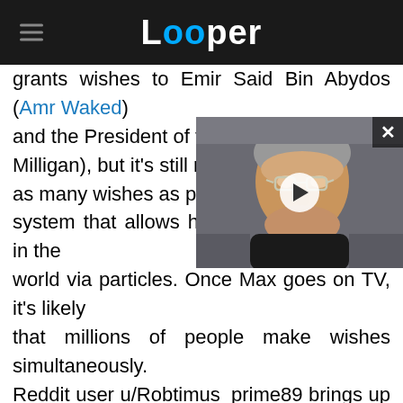Looper
grants wishes to Emir Said Bin Abydos (Amr Waked) and the President of the Un[ited States (Stuart] Milligan), but it's still not en[ough. He grants] as many wishes as possible, [creating a] system that allows him to touch everyone in the world via particles. Once Max goes on TV, it's likely that millions of people make wishes simultaneously. Reddit user u/Robtimus_prime89 brings up another good point: Which wishes does the Dreamstone grant first when so many are being made at the exact same time? "When the whole world is wishing, what is the priority? Some would be wishing for more nukes, some would be wishing them away, or
[Figure (screenshot): Video thumbnail showing an older man with glasses and gray hair, with a white play button circle overlay in the center. A close/X button appears in the upper right corner.]